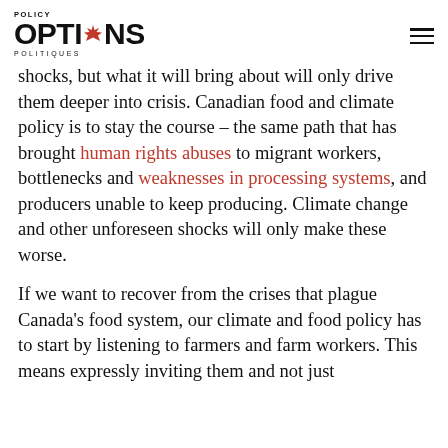POLICY OPTIONS POLITIQUES
shocks, but what it will bring about will only drive them deeper into crisis. Canadian food and climate policy is to stay the course – the same path that has brought human rights abuses to migrant workers, bottlenecks and weaknesses in processing systems, and producers unable to keep producing. Climate change and other unforeseen shocks will only make these worse.
If we want to recover from the crises that plague Canada's food system, our climate and food policy has to start by listening to farmers and farm workers. This means expressly inviting them and not just